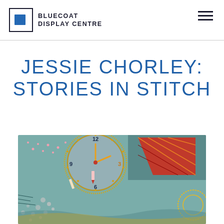BLUECOAT DISPLAY CENTRE
JESSIE CHORLEY: STORIES IN STITCH
[Figure (photo): Close-up photograph of intricate embroidery/textile artwork showing a clock face with beading, sequins, stitched patterns in teal, red, orange, and grey on fabric — part of Jessie Chorley's 'Stories in Stitch' exhibition.]